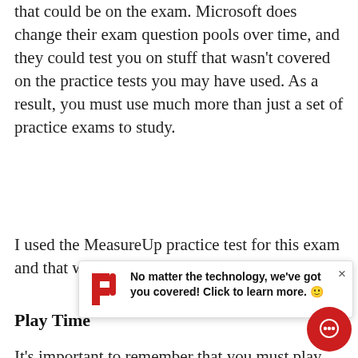that could be on the exam. Microsoft does change their exam question pools over time, and they could test you on stuff that wasn't covered on the practice tests you may have used. As a result, you must use much more than just a set of practice exams to study.
I used the MeasureUp practice test for this exam and that worked out really well.
Play Time
[Figure (other): Popup notification overlay with red P logo and text: 'No matter the technology, we've got you covered! Click to learn more.' with a close (×) button.]
It's important to remember that you must play around with this stuff you are learning too! Book smarts are fine, but